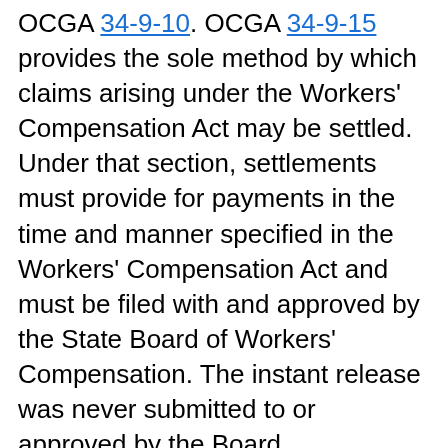OCGA 34-9-10. OCGA 34-9-15 provides the sole method by which claims arising under the Workers' Compensation Act may be settled. Under that section, settlements must provide for payments in the time and manner specified in the Workers' Compensation Act and must be filed with and approved by the State Board of Workers' Compensation. The instant release was never submitted to or approved by the Board. Accordingly, as to any claim by appellee for workers' compensation benefits, it is void and has no effect. See generally Tillman v. Moody, 181 Ga. 530 (182 SE 906) (1935). This is true regardless of whether a workers'